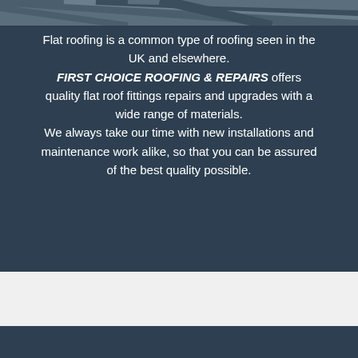[Figure (photo): Dark angled roofing tiles/panels image strip at top of page]
Flat roofing is a common type of roofing seen in the UK and elsewhere. FIRST CHOICE ROOFING & REPAIRS offers quality flat roof fittings repairs and upgrades with a wide range of materials. We always take our time with new installations and maintenance work alike, so that you can be assured of the best quality possible.